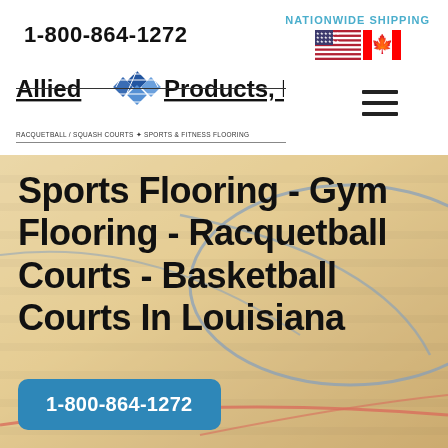1-800-864-1272
NATIONWIDE SHIPPING
[Figure (logo): Allied Products LLC logo with blue diamond tile graphic and text. Tagline: RACQUETBALL / SQUASH COURTS + SPORTS & FITNESS FLOORING]
[Figure (illustration): Hardwood sports court floor (gymnasium/racquetball court) with blue and red court line markings, viewed at an angle. Serves as hero background image.]
Sports Flooring - Gym Flooring - Racquetball Courts - Basketball Courts In Louisiana
1-800-864-1272